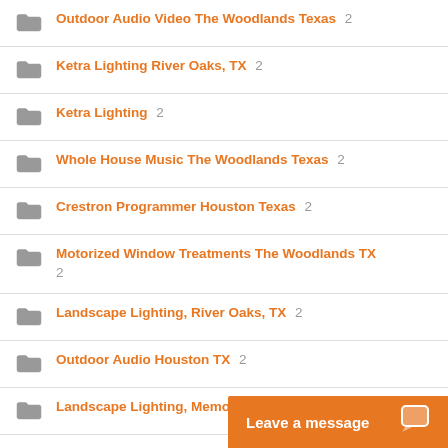Outdoor Audio Video The Woodlands Texas 2
Ketra Lighting River Oaks, TX 2
Ketra Lighting 2
Whole House Music The Woodlands Texas 2
Crestron Programmer Houston Texas 2
Motorized Window Treatments The Woodlands TX 2
Landscape Lighting, River Oaks, TX 2
Outdoor Audio Houston TX 2
Landscape Lighting, Memorial, TX 2
Savant, Austin, TX 2
Home Networking